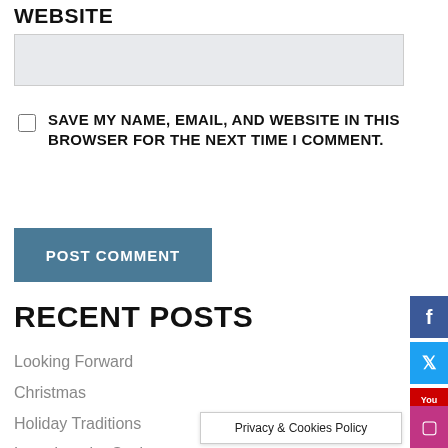WEBSITE
[input field]
SAVE MY NAME, EMAIL, AND WEBSITE IN THIS BROWSER FOR THE NEXT TIME I COMMENT.
POST COMMENT
RECENT POSTS
Looking Forward
Christmas
Holiday Traditions
Lean Into the Suck
A Thank You Never S…
Privacy & Cookies Policy